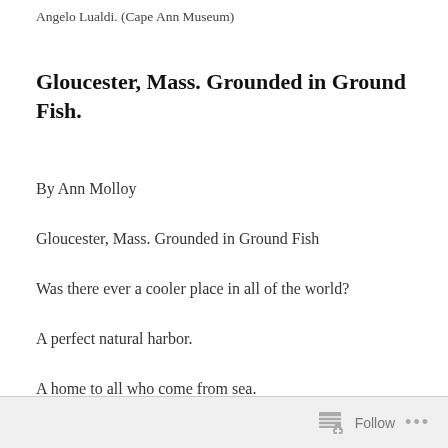Angelo Lualdi. (Cape Ann Museum)
Gloucester, Mass. Grounded in Ground Fish.
By Ann Molloy
Gloucester, Mass. Grounded in Ground Fish
Was there ever a cooler place in all of the world?
A perfect natural harbor.
A home to all who come from sea.
Welcoming them with arms wide open, like a loving
Follow